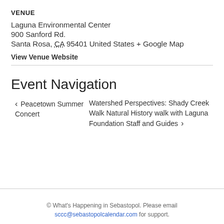VENUE
Laguna Environmental Center
900 Sanford Rd.
Santa Rosa, CA 95401 United States + Google Map
View Venue Website
Event Navigation
‹ Peacetown Summer Concert
Watershed Perspectives: Shady Creek Walk Natural History walk with Laguna Foundation Staff and Guides ›
© What's Happening in Sebastopol. Please email sccc@sebastopolcalendar.com for support.